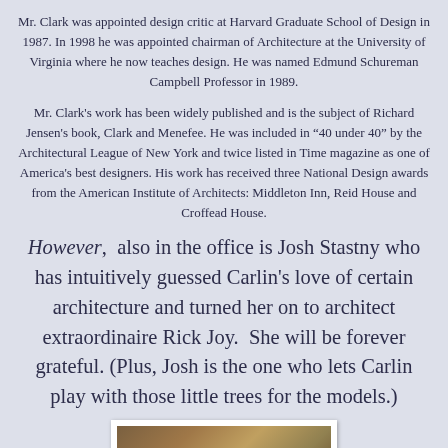Mr. Clark was appointed design critic at Harvard Graduate School of Design in 1987. In 1998 he was appointed chairman of Architecture at the University of Virginia where he now teaches design. He was named Edmund Schureman Campbell Professor in 1989.
Mr. Clark’s work has been widely published and is the subject of Richard Jensen’s book, Clark and Menefee. He was included in “40 under 40” by the Architectural League of New York and twice listed in Time magazine as one of America’s best designers. His work has received three National Design awards from the American Institute of Architects: Middleton Inn, Reid House and Croffead House.
However, also in the office is Josh Stastny who has intuitively guessed Carlin's love of certain architecture and turned her on to architect extraordinaire Rick Joy. She will be forever grateful. (Plus, Josh is the one who lets Carlin play with those little trees for the models.)
[Figure (photo): Partial view of a photograph at the bottom of the page, showing a brown/golden interior or landscape scene.]